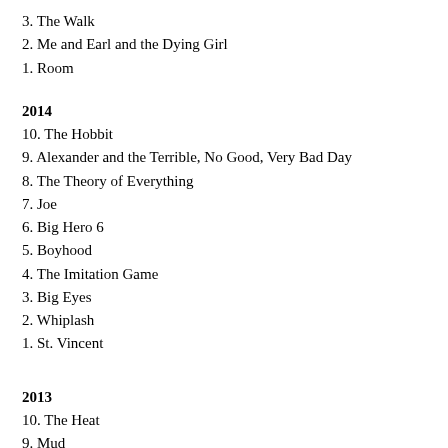3. The Walk
2. Me and Earl and the Dying Girl
1. Room
2014
10. The Hobbit
9. Alexander and the Terrible, No Good, Very Bad Day
8. The Theory of Everything
7. Joe
6. Big Hero 6
5. Boyhood
4. The Imitation Game
3. Big Eyes
2. Whiplash
1. St. Vincent
2013
10. The Heat
9. Mud
8. The Hobbit: Desolation of Smaug
7. Despicable Me 2
6. Gravity
5. Short Term 12
4. Nebraska